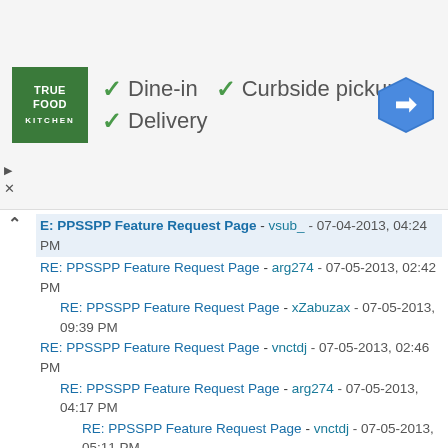[Figure (other): True Food Kitchen ad banner with logo, dine-in, curbside pickup, delivery checkmarks, and navigation icon]
E: PPSSPP Feature Request Page - vsub_ - 07-04-2013, 04:24 PM
RE: PPSSPP Feature Request Page - arg274 - 07-05-2013, 02:42 PM
RE: PPSSPP Feature Request Page - xZabuzax - 07-05-2013, 09:39 PM
RE: PPSSPP Feature Request Page - vnctdj - 07-05-2013, 02:46 PM
RE: PPSSPP Feature Request Page - arg274 - 07-05-2013, 04:17 PM
RE: PPSSPP Feature Request Page - vnctdj - 07-05-2013, 05:11 PM
RE: PPSSPP Feature Request Page - Ritori - 07-05-2013, 04:45 PM
RE: PPSSPP Feature Request Page - vsub_ - 07-05-2013, 05:03 PM
RE: PPSSPP Feature Request Page - Squall - 07-06-2013, 12:59 AM
RE: PPSSPP Feature Request Page - xZabuzax - 07-06-2013, 01:25 AM
RE: PPSSPP Feature Request Page - vsub_ - 07-06-2013, 02:51 AM
RE: PPSSPP Feature Request Page - arg274 - 07-06-2013, 05:26 AM
RE: PPSSPP Feature Request Page - vsub_ - 07-06-2013, 09:17 AM
RE: PPSSPP Feature Request Page - DarkWolf - 07-06-2013, 12:43